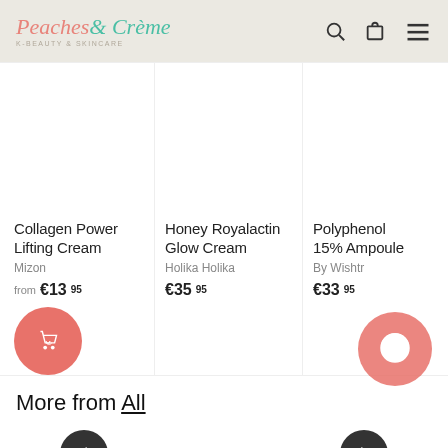Peaches & Crème K-Beauty & Skincare
Collagen Power Lifting Cream
Mizon
from €13.95
Honey Royalactin Glow Cream
Holika Holika
€35.95
Polyphe... 15% Amp...
By Wishtr...
€33.95
More from All